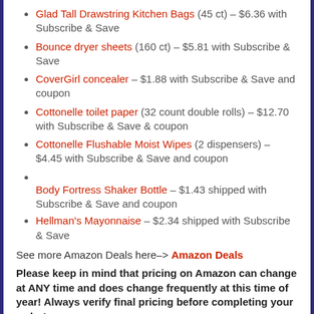Glad Tall Drawstring Kitchen Bags (45 ct) – $6.36 with Subscribe & Save
Bounce dryer sheets (160 ct) – $5.81 with Subscribe & Save
CoverGirl concealer – $1.88 with Subscribe & Save and coupon
Cottonelle toilet paper (32 count double rolls) – $12.70 with Subscribe & Save & coupon
Cottonelle Flushable Moist Wipes (2 dispensers) – $4.45 with Subscribe & Save and coupon
Body Fortress Shaker Bottle – $1.43 shipped with Subscribe & Save and coupon
Hellman's Mayonnaise – $2.34 shipped with Subscribe & Save
See more Amazon Deals here–> Amazon Deals
Please keep in mind that pricing on Amazon can change at ANY time and does change frequently at this time of year!  Always verify final pricing before completing your order!
Get free shipping when you spend $35 or more or if you have Amazon Prime!  You can get a free 30 day trial to Amazon Prime here–> Amazon Prime free trial